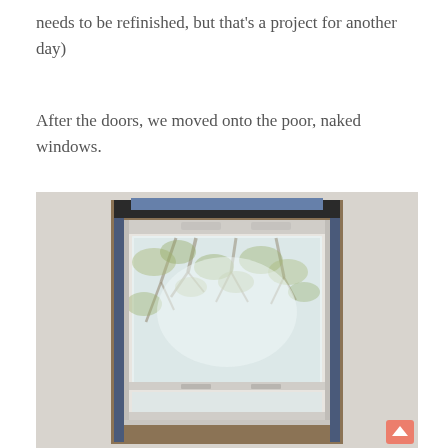needs to be refinished, but that's a project for another day)
After the doors, we moved onto the poor, naked windows.
[Figure (photo): A window without trim or curtains, set into a wall with rough edges exposed. The window frame is white and shows trees outside with green foliage. The wall around the window opening is bare with no casing, revealing the rough framing.]